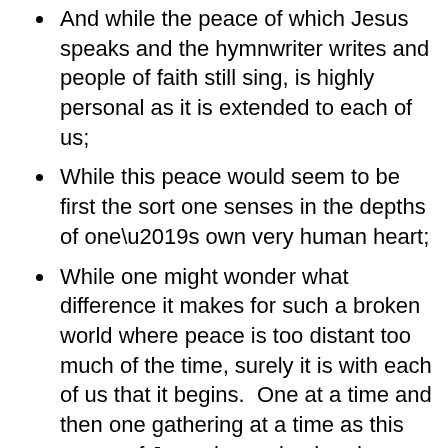And while the peace of which Jesus speaks and the hymnwriter writes and people of faith still sing, is highly personal as it is extended to each of us;
While this peace would seem to be first the sort one senses in the depths of one’s own very human heart;
While one might wonder what difference it makes for such a broken world where peace is too distant too much of the time, surely it is with each of us that it begins.  One at a time and then one gathering at a time as this peace of Jesus is received and peace is shared and this peace finds a way to be lived out.
Indeed, as we are surely changed by this peace, it is then that the world has a chance to be